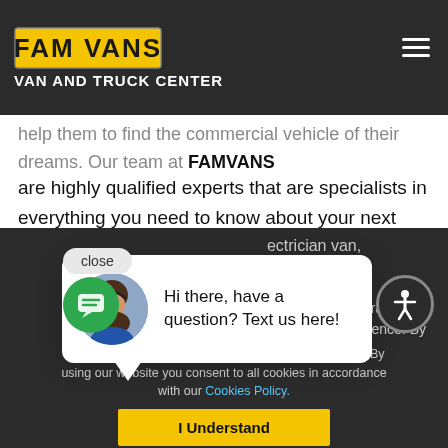FAM VANS VAN AND TRUCK CENTER
are highly qualified experts that are specialists in everything you need to know about your next commercial vehicle.
If you have any questions about our inventory please feel free to give us a call or visit our showroom In Fountain Valley, County. If you are in the market for a special electrician van, call at FAM es several of our experience. By
FAMVANS is your final destination in Orange County and Los Angeles Area for your next van or pickup truck.
[Figure (screenshot): Chat popup widget with avatar of a woman and text: Hi there, have a question? Text us here!]
This website uses cookies to improve your experience. By using our website you consent to all cookies in accordance with our Cookies Policy.
I Understand